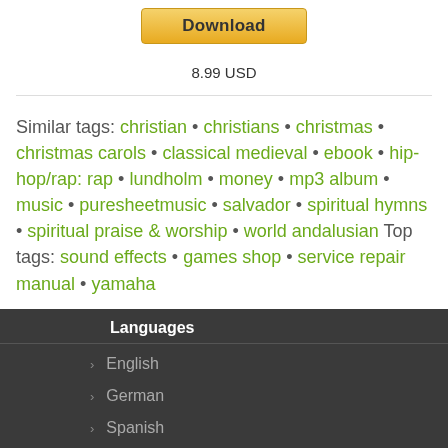[Figure (other): Download button with golden/yellow gradient styling]
8.99 USD
Similar tags: christian • christians • christmas • christmas carols • classical medieval • ebook • hip-hop/rap: rap • lundholm • money • mp3 album • music • puresheetmusic • salvador • spiritual hymns • spiritual praise & worship • world andalusian Top tags: sound effects • games shop • service repair manual • yamaha
Languages
English
German
Spanish